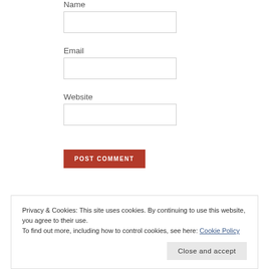Name
[Figure (other): Name input field (empty text box)]
Email
[Figure (other): Email input field (empty text box)]
Website
[Figure (other): Website input field (empty text box)]
[Figure (other): POST COMMENT button in dark red]
Privacy & Cookies: This site uses cookies. By continuing to use this website, you agree to their use.
To find out more, including how to control cookies, see here: Cookie Policy
Close and accept